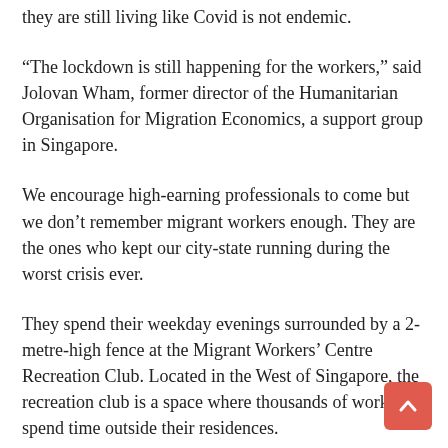they are still living like Covid is not endemic.
“The lockdown is still happening for the workers,” said Jolovan Wham, former director of the Humanitarian Organisation for Migration Economics, a support group in Singapore.
We encourage high-earning professionals to come but we don’t remember migrant workers enough. They are the ones who kept our city-state running during the worst crisis ever.
They spend their weekday evenings surrounded by a 2-metre-high fence at the Migrant Workers’ Centre Recreation Club. Located in the West of Singapore, the recreation club is a space where thousands of workers spend time outside their residences.
Many workers still feel that they are too confined. Some of them seem to need permission to go outside on weekdays and for a certain number of hours. A migrant